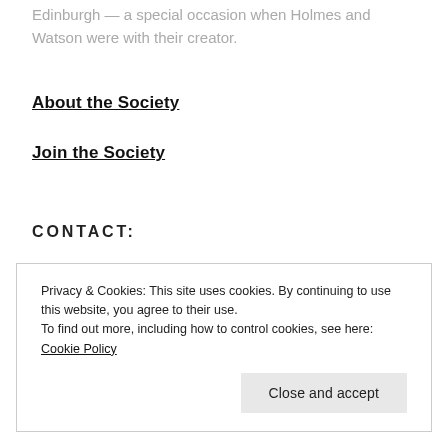Edinburgh — a special occasion when Holmes and Watson were with their creator.
About the Society
Join the Society
CONTACT:
Privacy & Cookies: This site uses cookies. By continuing to use this website, you agree to their use.
To find out more, including how to control cookies, see here: Cookie Policy